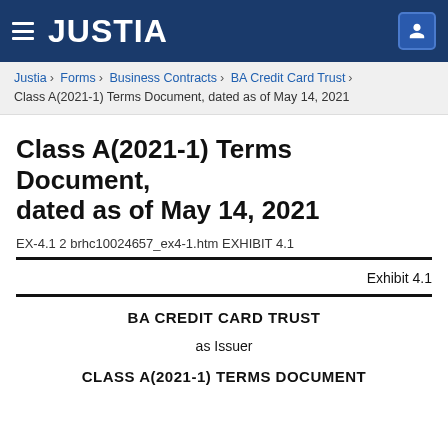JUSTIA
Justia › Forms › Business Contracts › BA Credit Card Trust › Class A(2021-1) Terms Document, dated as of May 14, 2021
Class A(2021-1) Terms Document, dated as of May 14, 2021
EX-4.1 2 brhc10024657_ex4-1.htm EXHIBIT 4.1
Exhibit 4.1
BA CREDIT CARD TRUST
as Issuer
CLASS A(2021-1) TERMS DOCUMENT